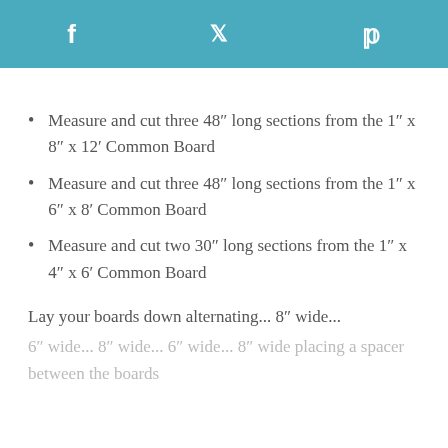f  ✦  p
Measure and cut three 48″ long sections from the 1″ x 8″ x 12′ Common Board
Measure and cut three 48″ long sections from the 1″ x 6″ x 8′ Common Board
Measure and cut two 30″ long sections from the 1″ x 4″ x 6′ Common Board
Lay your boards down alternating... 8″ wide...
6″ wide... 8″ wide... 6″ wide... 8″ wide placing a spacer between the boards